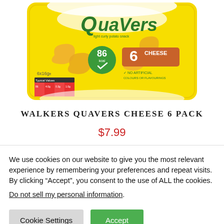[Figure (photo): Walkers Quavers Cheese 6 Pack product image — yellow snack multipack bag with green Quavers logo, showing cheese puffs, '6 CHEESE', '86 kcal', and '6x16g' text on the packet.]
WALKERS QUAVERS CHEESE 6 PACK
$7.99
We use cookies on our website to give you the most relevant experience by remembering your preferences and repeat visits. By clicking “Accept”, you consent to the use of ALL the cookies.
Do not sell my personal information.
Cookie Settings
Accept